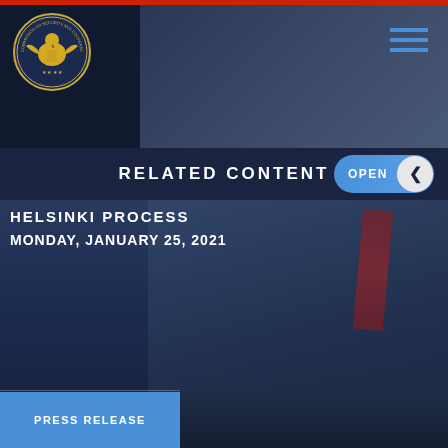[Figure (logo): Commission on Security and Cooperation in Europe seal/logo with eagle emblem in gold on dark navy background]
RELATED CONTENT
HELSINKI PROCESS
MONDAY, JANUARY 25, 2021
PRESS RELEASE